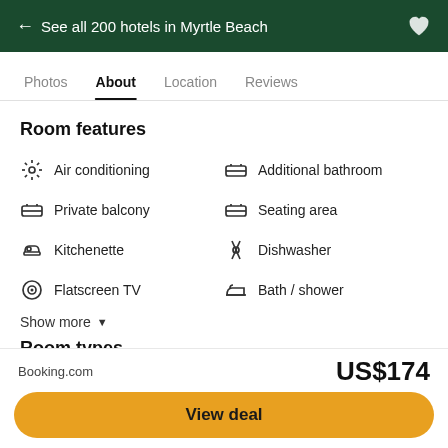← See all 200 hotels in Myrtle Beach
Photos  About  Location  Reviews
Room features
Air conditioning
Additional bathroom
Private balcony
Seating area
Kitchenette
Dishwasher
Flatscreen TV
Bath / shower
Show more ▼
Room types
Booking.com  US$174  View deal